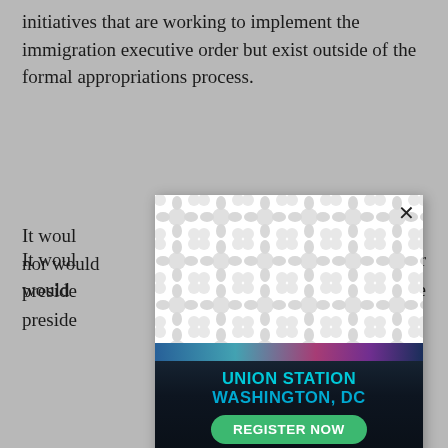initiatives that are working to implement the immigration executive order but exist outside of the formal appropriations process.
It would [obscured by modal]; nor would [obscured by modal] the preside[obscured by modal]
[Figure (other): Popup modal overlay with decorative chain-link/molecule pattern background and close (X) button in top-right corner]
[Figure (other): Event advertisement banner with text 'UNION STATION WASHINGTON, DC' in teal on dark background, with green 'REGISTER NOW' button]